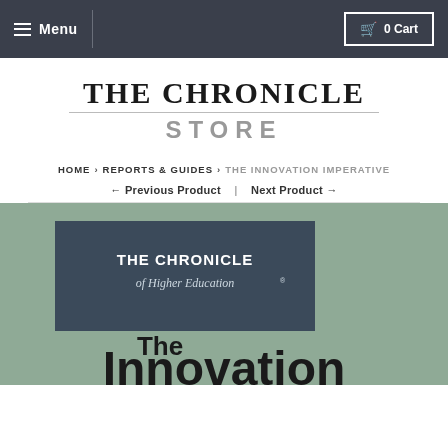☰ Menu | 🛒 0 Cart
[Figure (logo): The Chronicle Store logo with serif 'THE CHRONICLE' and sans-serif gray 'STORE' below a horizontal rule]
HOME › REPORTS & GUIDES › THE INNOVATION IMPERATIVE
← Previous Product | Next Product →
[Figure (illustration): Book cover showing 'The Chronicle of Higher Education' logo on a dark blue-gray panel over a sage green background, with 'The Innovation' text in bold black at the bottom]